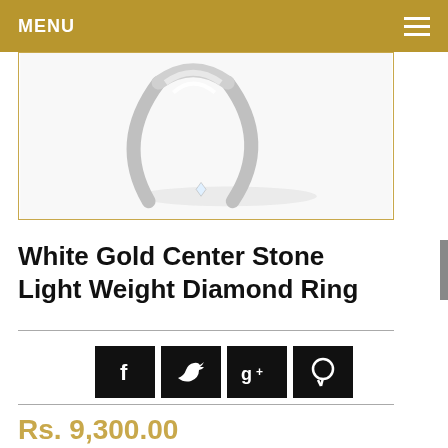MENU
[Figure (photo): A white gold diamond ring photographed from above against a white background, showing the band and a small center stone.]
White Gold Center Stone Light Weight Diamond Ring
[Figure (infographic): Social media share buttons: Facebook (f), Twitter (bird), Google+ (g+), Pinterest (p) — all black square icons with white symbols.]
Rs. 9,300.00
White Gold Center Stone Light Weight Diamond Ring